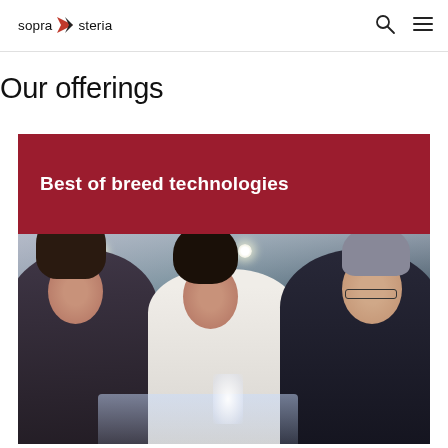sopra steria
Our offerings
[Figure (photo): Card with dark red header reading 'Best of breed technologies' and a photo below of three professionals (two women and one man) smiling and looking at a laptop together in an office environment.]